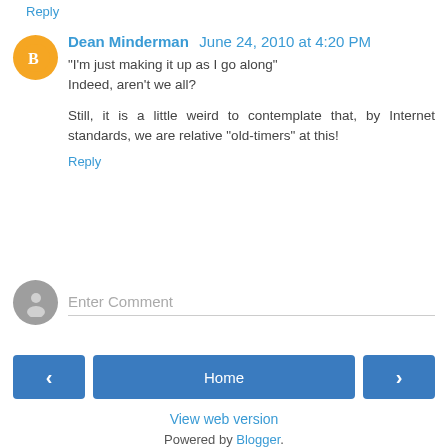Reply
Dean Minderman  June 24, 2010 at 4:20 PM
"I'm just making it up as I go along"
Indeed, aren't we all?

Still, it is a little weird to contemplate that, by Internet standards, we are relative "old-timers" at this!
Reply
Enter Comment
Home
View web version
Powered by Blogger.